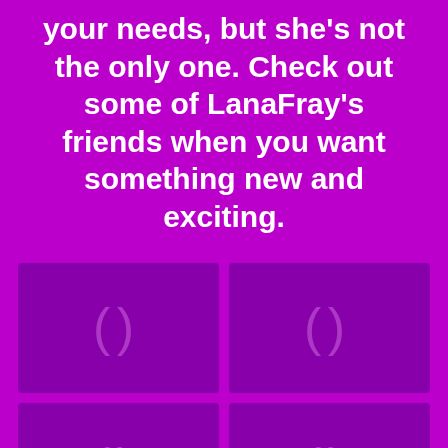your needs, but she's not the only one. Check out some of LanaFray's friends when you want something new and exciting.
[Figure (other): A 2-column grid of 6 image placeholder tiles (dark purple boxes with a faint loading spinner icon), arranged in 3 rows of 2, on a bright purple background. The bottom row is partially visible.]